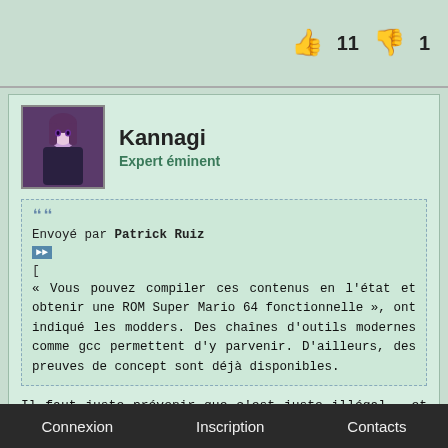👍 11  👎 1
Kannagi
Expert éminent
Envoyé par Patrick Ruiz
[
« Vous pouvez compiler ces contenus en l'état et obtenir une ROM Super Mario 64 fonctionnelle », ont indiqué les modders. Des chaînes d'outils modernes comme gcc permettent d'y parvenir. D'ailleurs, des preuves de concept sont déjà disponibles.
Il faut juste prévenir que c'est juste illégal , et il me semble que les règles de ce forum sont assez clair sur le piratage
Envoyé par Patrick Ruiz
Connexion    Inscription    Contacts